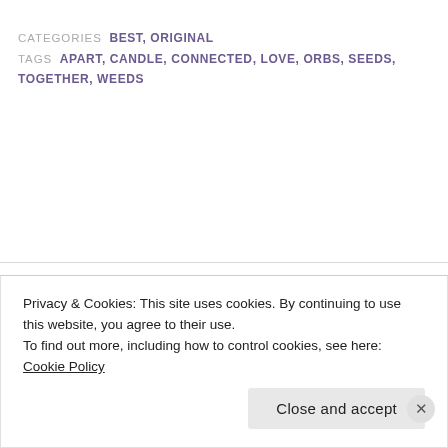CATEGORIES BEST, ORIGINAL
TAGS APART, CANDLE, CONNECTED, LOVE, ORBS, SEEDS, TOGETHER, WEEDS
Search ...
S...b...t Ph...t... E...i...
Privacy & Cookies: This site uses cookies. By continuing to use this website, you agree to their use.
To find out more, including how to control cookies, see here: Cookie Policy
Close and accept